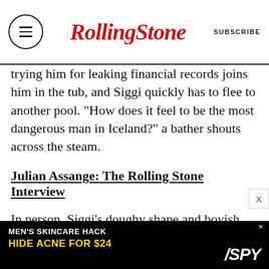Rolling Stone | SUBSCRIBE
trying him for leaking financial records joins him in the tub, and Siggi quickly has to flee to another pool. “How does it feel to be the most dangerous man in Iceland?” a bather shouts across the steam.
Julian Assange: The Rolling Stone Interview
In person, Siggi’s doughy shape and boyish smile make him seem less than menacing – unless you’re another one of the world’s most dangerous men, Julian Assange. Four years ago, just as WikiLeaks was winning international notoriety, the then-17-year-old hacking prodigy became Assange’s youngest and most trusted sidekick. “I
[Figure (other): Advertisement banner: MEN'S SKINCARE HACK HIDE ACNE FOR $24 with SPY logo]